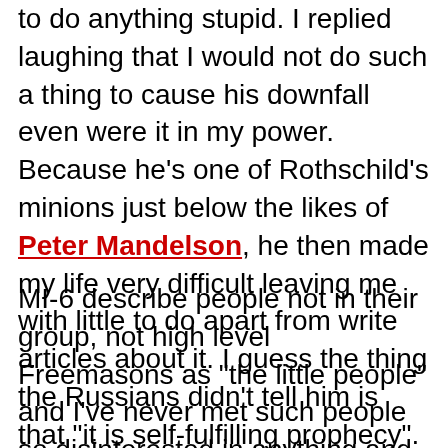to do anything stupid. I replied laughing that I would not do such a thing to cause his downfall even were it in my power. Because he's one of Rothschild's minions just below the likes of Peter Mandelson, he then made my life very difficult leaving me with little to do apart from write articles about it. I guess the thing the Russians didn't tell him is that "it is self-fulfilling prophecy".
MI-6 describe people not in their group, not high level Freemasons as "the little people" and I've never met such people so disinterested in anything and everything anyone else might have to say as them. Unless you're in their club, or offering them a young boy they can barely contain their